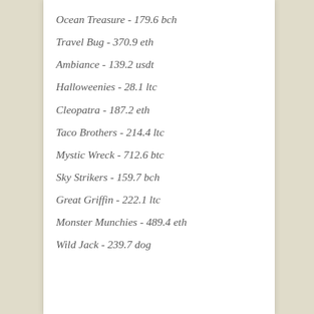Ocean Treasure - 179.6 bch
Travel Bug - 370.9 eth
Ambiance - 139.2 usdt
Halloweenies - 28.1 ltc
Cleopatra - 187.2 eth
Taco Brothers - 214.4 ltc
Mystic Wreck - 712.6 btc
Sky Strikers - 159.7 bch
Great Griffin - 222.1 ltc
Monster Munchies - 489.4 eth
Wild Jack - 239.7 dog